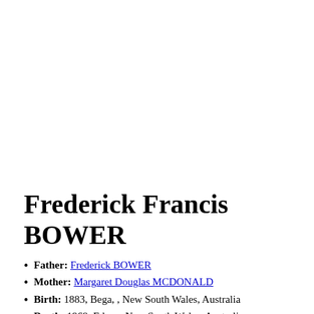Frederick Francis BOWER
Father: Frederick BOWER
Mother: Margaret Douglas MCDONALD
Birth: 1883, Bega, , New South Wales, Australia
Death: 1969, Eden, , New South Wales, Australia